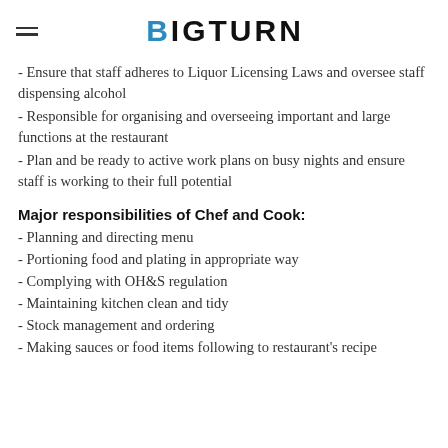BIGTURN
- Ensure that staff adheres to Liquor Licensing Laws and oversee staff dispensing alcohol
- Responsible for organising and overseeing important and large functions at the restaurant
- Plan and be ready to active work plans on busy nights and ensure staff is working to their full potential
Major responsibilities of Chef and Cook:
- Planning and directing menu
- Portioning food and plating in appropriate way
- Complying with OH&S regulation
- Maintaining kitchen clean and tidy
- Stock management and ordering
- Making sauces or food items following to restaurant's recipe